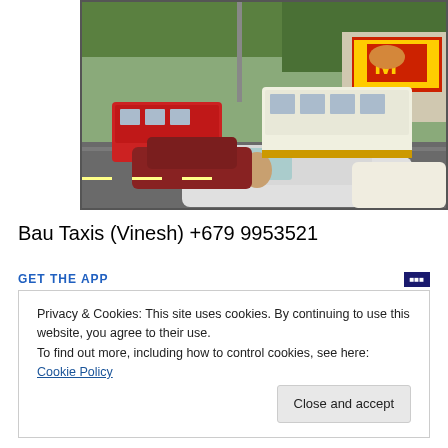[Figure (photo): Street traffic scene showing buses, cars, and a McDonald's sign in what appears to be a city in Fiji or a Pacific island nation.]
Bau Taxis (Vinesh) +679 9953521
GET THE APP
Privacy & Cookies: This site uses cookies. By continuing to use this website, you agree to their use.
To find out more, including how to control cookies, see here: Cookie Policy
Close and accept